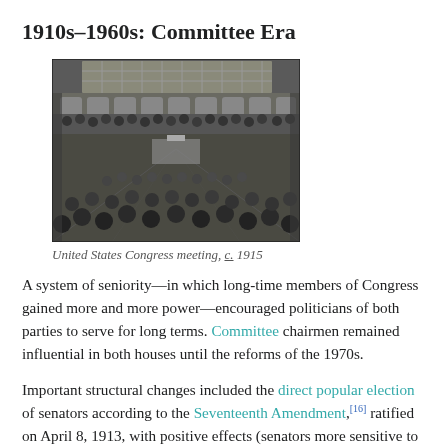1910s–1960s: Committee Era
[Figure (photo): Black and white photograph of a United States Congress meeting, circa 1915, showing a large hall filled with seated members viewed from the back, with a speaker at the front podium and gallery seating above.]
United States Congress meeting, c. 1915
A system of seniority—in which long-time members of Congress gained more and more power—encouraged politicians of both parties to serve for long terms. Committee chairmen remained influential in both houses until the reforms of the 1970s.
Important structural changes included the direct popular election of senators according to the Seventeenth Amendment,[16] ratified on April 8, 1913, with positive effects (senators more sensitive to public opinion) and negative effects (undermining the authority of